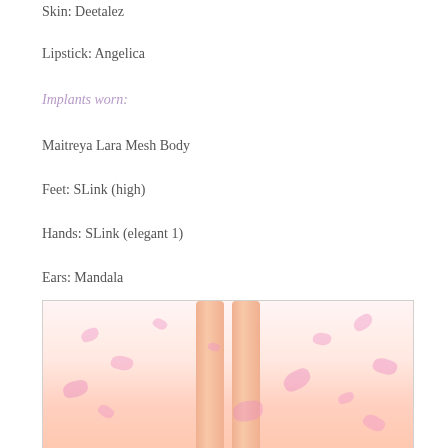Skin: Deetalez
Lipstick: Angelica
Implants worn:
Maitreya Lara Mesh Body
Feet: SLink (high)
Hands: SLink (elegant 1)
Ears: Mandala
[Figure (photo): Cropped photo showing the legs of a virtual avatar with pink flower petals scattered around on a white/pink background]